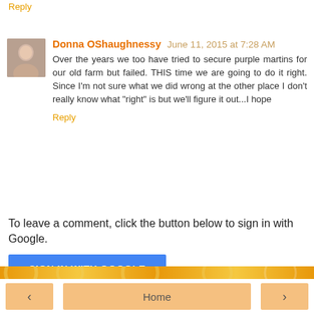the cat food out for them.
Reply
Donna OShaughnessy June 11, 2015 at 7:28 AM
Over the years we too have tried to secure purple martins for our old farm but failed. THIS time we are going to do it right. Since I'm not sure what we did wrong at the other place I don't really know what "right" is but we'll figure it out...I hope
Reply
To leave a comment, click the button below to sign in with Google.
SIGN IN WITH GOOGLE
Home